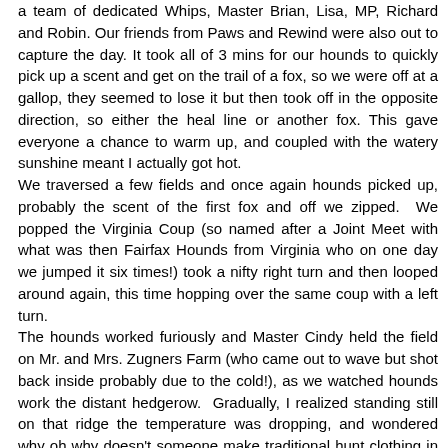a team of dedicated Whips, Master Brian, Lisa, MP, Richard and Robin. Our friends from Paws and Rewind were also out to capture the day. It took all of 3 mins for our hounds to quickly pick up a scent and get on the trail of a fox, so we were off at a gallop, they seemed to lose it but then took off in the opposite direction, so either the heal line or another fox. This gave everyone a chance to warm up, and coupled with the watery sunshine meant I actually got hot.
We traversed a few fields and once again hounds picked up, probably the scent of the first fox and off we zipped.  We popped the Virginia Coup (so named after a Joint Meet with what was then Fairfax Hounds from Virginia who on one day we jumped it six times!) took a nifty right turn and then looped around again, this time hopping over the same coup with a left turn.
The hounds worked furiously and Master Cindy held the field on Mr. and Mrs. Zugners Farm (who came out to wave but shot back inside probably due to the cold!), as we watched hounds work the distant hedgerow.  Gradually, I realized standing still on that ridge the temperature was dropping, and wondered why oh why doesn't someone make traditional hunt clothing in high tech materials? Despite being in exactly the right place to see a fox pop out none did, so we moved on past Fox Volcano and forward to Big Sky Farm.  The